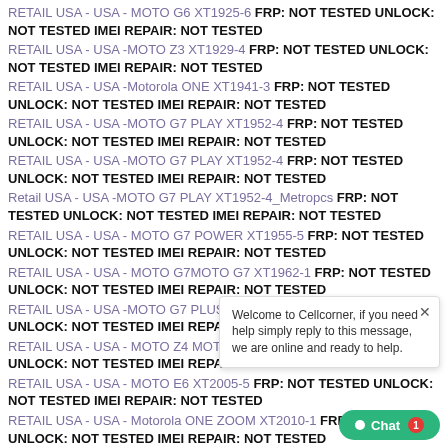RETAIL USA - USA - MOTO G6 XT1925-6 FRP: NOT TESTED UNLOCK: NOT TESTED IMEI REPAIR: NOT TESTED
RETAIL USA - USA -MOTO Z3 XT1929-4 FRP: NOT TESTED UNLOCK: NOT TESTED IMEI REPAIR: NOT TESTED
RETAIL USA - USA -Motorola ONE XT1941-3 FRP: NOT TESTED UNLOCK: NOT TESTED IMEI REPAIR: NOT TESTED
RETAIL USA - USA -MOTO G7 PLAY XT1952-4 FRP: NOT TESTED UNLOCK: NOT TESTED IMEI REPAIR: NOT TESTED
RETAIL USA - USA -MOTO G7 PLAY XT1952-4 FRP: NOT TESTED UNLOCK: NOT TESTED IMEI REPAIR: NOT TESTED
Retail USA - USA -MOTO G7 PLAY XT1952-4_Metropcs FRP: NOT TESTED UNLOCK: NOT TESTED IMEI REPAIR: NOT TESTED
RETAIL USA - USA - MOTO G7 POWER XT1955-5 FRP: NOT TESTED UNLOCK: NOT TESTED IMEI REPAIR: NOT TESTED
RETAIL USA - USA - MOTO G7MOTO G7 XT1962-1 FRP: NOT TESTED UNLOCK: NOT TESTED IMEI REPAIR: NOT TESTED
RETAIL USA - USA -MOTO G7 PLUS XT1965-T FRP: NOT TESTED UNLOCK: NOT TESTED IMEI REPAIR: NOT TESTED
RETAIL USA - USA - MOTO Z4 MOTO Z4 XT1980-3 FRP: NOT TESTED UNLOCK: NOT TESTED IMEI REPAIR: NOT TESTED
RETAIL USA - USA - MOTO E6 XT2005-5 FRP: NOT TESTED UNLOCK: NOT TESTED IMEI REPAIR: NOT TESTED
RETAIL USA - USA - Motorola ONE ZOOM XT2010-1 FRP: NOT TESTED UNLOCK: NOT TESTED IMEI REPAIR: NOT TESTED
RETAIL USA - USA - Motorola ONE ACTION XT2013-4 FRP: NOT TESTED UNLOCK: NOT TESTED IMEI REPAIR: NOT TESTED
RETAIL USA - USA - Motorola ONE HYPER XT2027-1 FRP: NOT TESTED